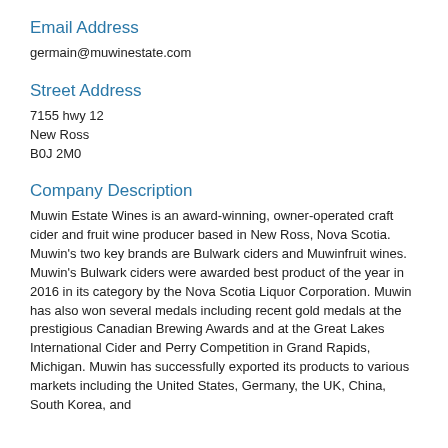Email Address
germain@muwinestate.com
Street Address
7155 hwy 12
New Ross
B0J 2M0
Company Description
Muwin Estate Wines is an award-winning, owner-operated craft cider and fruit wine producer based in New Ross, Nova Scotia. Muwin's two key brands are Bulwark ciders and Muwinfruit wines. Muwin's Bulwark ciders were awarded best product of the year in 2016 in its category by the Nova Scotia Liquor Corporation. Muwin has also won several medals including recent gold medals at the prestigious Canadian Brewing Awards and at the Great Lakes International Cider and Perry Competition in Grand Rapids, Michigan. Muwin has successfully exported its products to various markets including the United States, Germany, the UK, China, South Korea, and